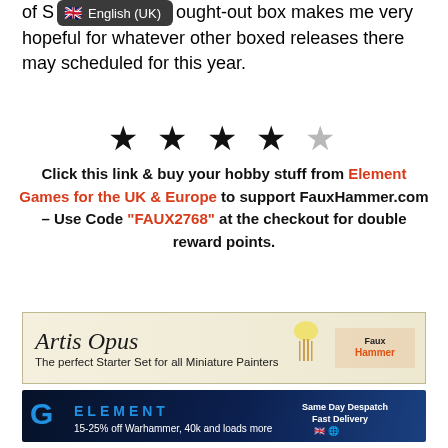of S [English (UK) tooltip] ought-out box makes me very hopeful for whatever other boxed releases there may scheduled for this year.
[Figure (other): 4 out of 5 stars rating: 4 filled black stars and 1 grey empty star]
Click this link & buy your hobby stuff from Element Games for the UK & Europe to support FauxHammer.com – Use Code "FAUX2768" at the checkout for double reward points.
[Figure (other): Artis Opus advertisement banner: The perfect Starter Set for all Miniature Painters]
[Figure (other): Element Games advertisement banner: 15-25% off Warhammer, 40k and loads more. Same Day Despatch, Fast Delivery.]
[Figure (other): Sonic Mini 8K advertisement banner: The Most #EPIC8K 3D Printer]